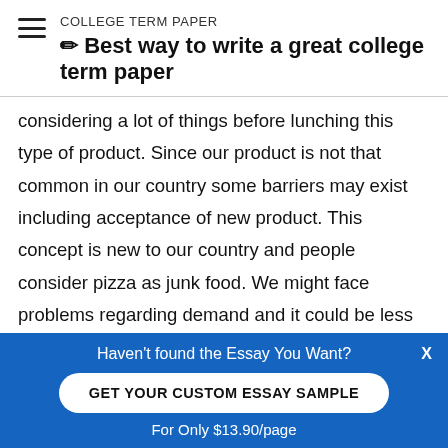COLLEGE TERM PAPER
✏ Best way to write a great college term paper
considering a lot of things before lunching this type of product. Since our product is not that common in our country some barriers may exist including acceptance of new product. This concept is new to our country and people consider pizza as junk food. We might face problems regarding demand and it could be less than expected. The second thing we should keep in mind that appropriate demand should be created so that we can
Haven't found the Essay You Want?
GET YOUR CUSTOM ESSAY SAMPLE
For Only $13.90/page